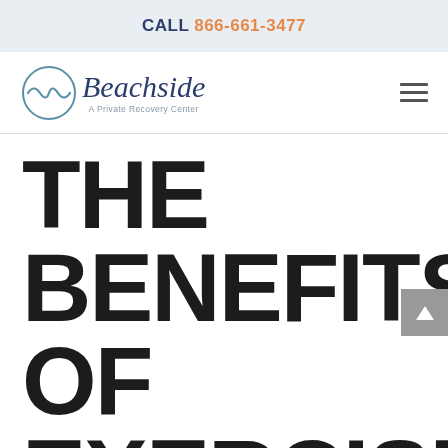CALL 866-661-3477
[Figure (logo): Beachside - A Private Recovery Center logo with circular wave icon]
THE BENEFITS OF EXERCISE